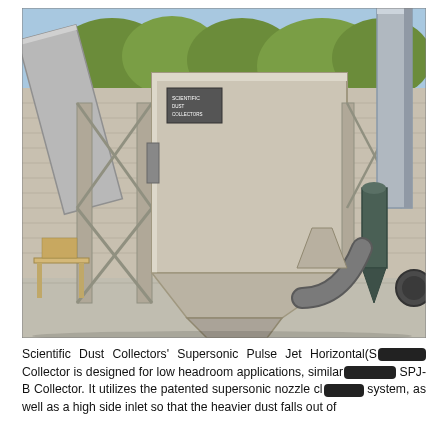[Figure (photo): Outdoor industrial dust collection equipment: a large pale grey box-shaped Supersonic Pulse Jet Horizontal Collector unit mounted on a steel frame with diagonal cross-bracing, hopper bottom, connected to large-diameter metal ductwork. To the right is a dark green cyclone separator with a large elbow duct and fan. A metal bench is visible on the left. Blue sky and trees in background.]
Scientific Dust Collectors' Supersonic Pulse Jet Horizontal(SP... Collector is designed for low headroom applications, similar ... SPJ-B Collector. It utilizes the patented supersonic nozzle cl... system, as well as a high side inlet so that the heavier dust falls out of...